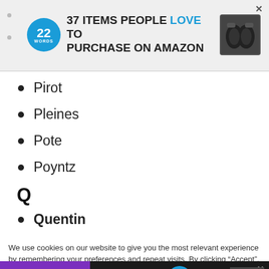[Figure (infographic): Advertisement banner: '37 ITEMS PEOPLE LOVE TO PURCHASE ON AMAZON' with 22 Words logo circle and earbuds image, with X close button]
Pirot
Pleines
Pote
Poyntz
Q
Quentin
We use cookies on our website to give you the most relevant experience by remembering your preferences and repeat visits. By clicking “Accept”, you consent to the use of ALL the cookies.
Do no
[Figure (infographic): Advertisement banner: '37 GENIUS AMAZON PRODUCTS THAT CAN BE USED BY ANYONE' with 22 Words logo, purple headphones image, X close button]